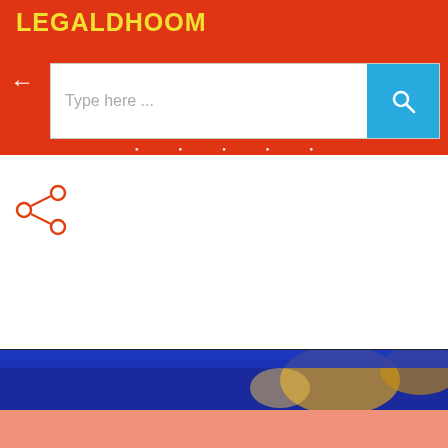LEGALDHOOM
[Figure (screenshot): Search bar with back arrow, text placeholder 'Type here ...' and blue search button with magnifying glass icon, on orange-red background]
[Figure (illustration): Share icon (less-than with dots) in orange-red on white background]
[Figure (photo): Partial image of legal scales/gavel with blue and gold tones]
Popular Posts
[Figure (photo): Card with black top section and gray bottom section showing a partial icon illustration related to legal/financial topic]